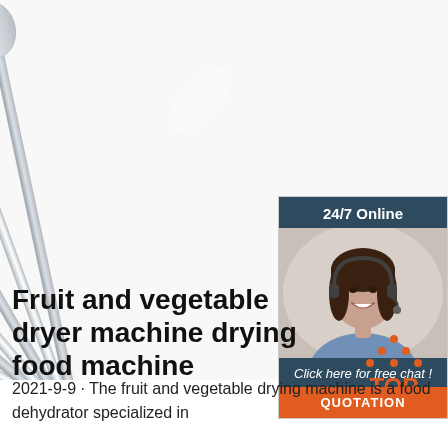[Figure (photo): Fan of stainless steel spoons spread out on white background, top-down view]
[Figure (infographic): 24/7 Online chat widget with woman wearing headset, 'Click here for free chat!' text, and orange QUOTATION button]
Fruit and vegetable dryer machine drying food machine
2021-9-9  ·  The fruit and vegetable drying machine is a food dehydrator specialized in